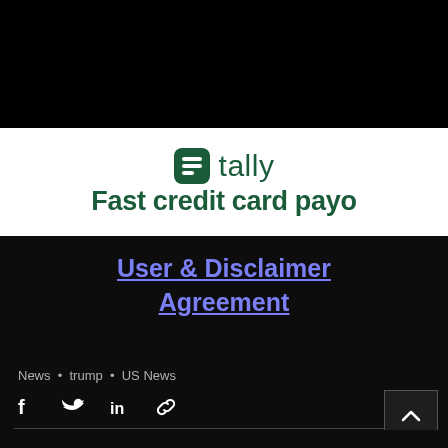[Figure (screenshot): Black header bar at top of webpage]
[Figure (logo): Tally app logo with green icon and name, tagline 'Fast credit card payo']
User & Disclaimer Agreement
News • trump • US News
[Figure (other): Social share icons: Facebook, Twitter, LinkedIn, Link]
Recent Posts
See All
[Figure (photo): Partial photo strip at bottom showing a person]